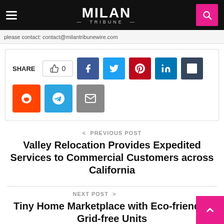MILAN TRIBUNE
please contact: contact@milantribunewire.com
[Figure (infographic): Social share bar with like counter (0) and social media buttons: Facebook, Twitter, Pinterest, LinkedIn, Tumblr, Reddit, Telegram, Email]
< PREVIOUS POST
Valley Relocation Provides Expedited Services to Commercial Customers across California
NEXT POST >
Tiny Home Marketplace with Eco-friendly, Grid-free Units